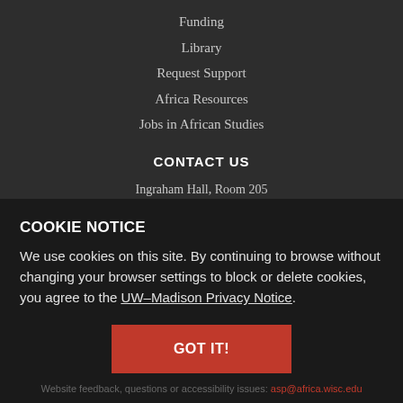Funding
Library
Request Support
Africa Resources
Jobs in African Studies
CONTACT US
Ingraham Hall, Room 205
1155 Observatory Drive
Madison, WI 53706
Email: asp@africa.wisc.edu
Phone: 608-262-2380
COOKIE NOTICE
We use cookies on this site. By continuing to browse without changing your browser settings to block or delete cookies, you agree to the UW–Madison Privacy Notice.
GOT IT!
Website feedback, questions or accessibility issues: asp@africa.wisc.edu